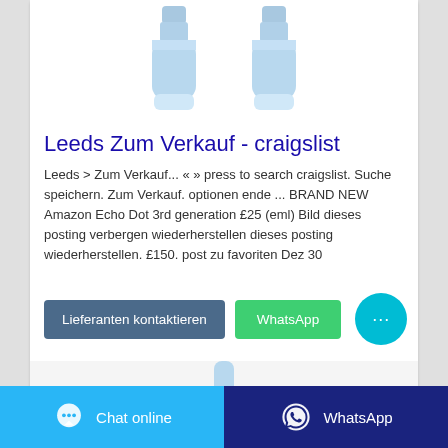[Figure (photo): Two light blue lotion/soap bottles shown from above, partially cropped at the top of the card]
Leeds Zum Verkauf - craigslist
Leeds > Zum Verkauf... « » press to search craigslist. Suche speichern. Zum Verkauf. optionen ende ... BRAND NEW Amazon Echo Dot 3rd generation £25 (eml) Bild dieses posting verbergen wiederherstellen dieses posting wiederherstellen. £150. post zu favoriten Dez 30
[Figure (screenshot): Buttons row: 'Lieferanten kontaktieren' (blue-grey button), 'WhatsApp' (green button), circular cyan chat icon button with ellipsis]
[Figure (photo): Partial view of another product image at the bottom of the card]
[Figure (screenshot): Bottom bar with two buttons: 'Chat online' (cyan, with chat bubble icon) and 'WhatsApp' (dark blue, with WhatsApp logo icon)]